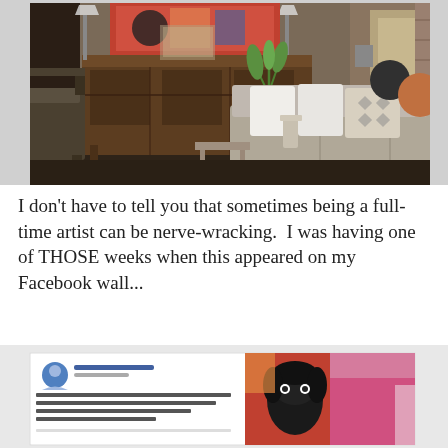[Figure (photo): Interior living room photo showing a couch with patterned and white pillows, a wooden dresser/piano with colorful artwork above it, a chair, a potted plant on a white surface, and decorative items. The room has warm, dim lighting with brown and neutral tones.]
I don't have to tell you that sometimes being a full-time artist can be nerve-wracking.  I was having one of THOSE weeks when this appeared on my Facebook wall...
[Figure (screenshot): A partially visible screenshot of a Facebook post showing a social media post with a profile picture on the left, text in the post, and on the right side a painting/artwork featuring a dark-skinned face with colorful abstract background.]